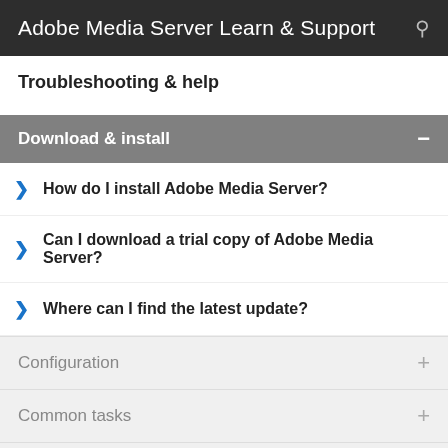Adobe Media Server Learn & Support
Troubleshooting & help
Download & install
How do I install Adobe Media Server?
Can I download a trial copy of Adobe Media Server?
Where can I find the latest update?
Configuration
Common tasks
Common issues